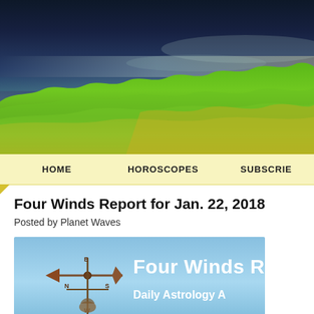[Figure (photo): Landscape photo showing a dramatic coastal scene with dark stormy sky above and vivid green grass/meadow in the foreground with warm golden tones at the bottom]
HOME   HOROSCOPES   SUBSCRIBE
Four Winds Report for Jan. 22, 2018
Posted by Planet Waves
[Figure (photo): Banner image with blue sky background showing a weather vane with arrow and compass directions, with text 'Four Winds R...' and 'Daily Astrology A...' in white]